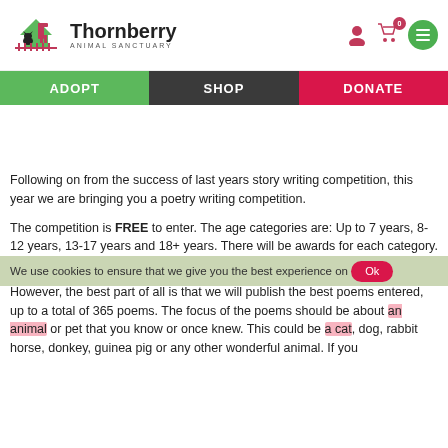Thornberry Animal Sanctuary — ADOPT | SHOP | DONATE
Following on from the success of last years story writing competition, this year we are bringing you a poetry writing competition.
The competition is FREE to enter. The age categories are: Up to 7 years, 8-12 years, 13-17 years and 18+ years. There will be awards for each category.
However, the best part of all is that we will publish the best poems entered, up to a total of 365 poems. The focus of the poems should be about an animal or pet that you know or once knew. This could be a cat, dog, rabbit horse, donkey, guinea pig or any other wonderful animal. If you
We use cookies to ensure that we give you the best experience on   Ok